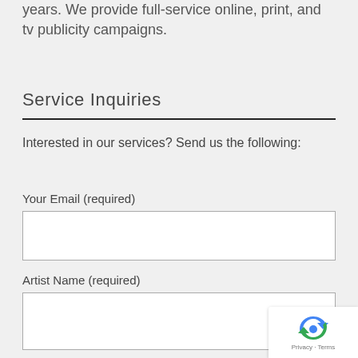years. We provide full-service online, print, and tv publicity campaigns.
Service Inquiries
Interested in our services? Send us the following:
Your Email (required)
Artist Name (required)